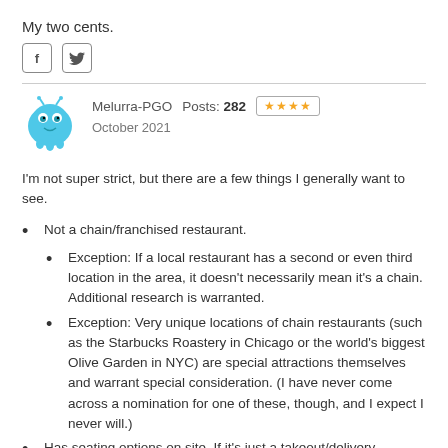My two cents.
[Figure (illustration): Facebook and Twitter social share icons]
[Figure (illustration): User avatar: blue cartoon monster/robot character]
Melurra-PGO  Posts: 282  ★★★★  October 2021
I'm not super strict, but there are a few things I generally want to see.
Not a chain/franchised restaurant.
Exception: If a local restaurant has a second or even third location in the area, it doesn't necessarily mean it's a chain. Additional research is warranted.
Exception: Very unique locations of chain restaurants (such as the Starbucks Roastery in Chicago or the world's biggest Olive Garden in NYC) are special attractions themselves and warrant special consideration. (I have never come across a nomination for one of these, though, and I expect I never will.)
Has seating options on site. If it's just a takeout/delivery